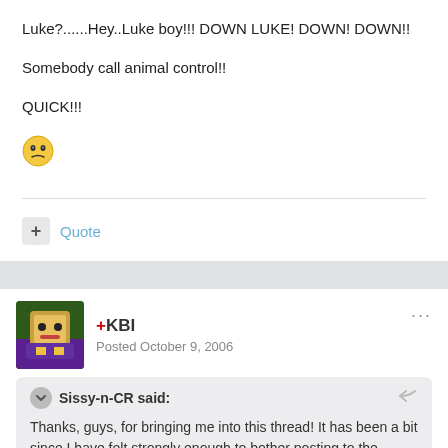Luke?......Hey..Luke boy!!! DOWN LUKE! DOWN! DOWN!!
Somebody call animal control!!
QUICK!!!
[Figure (illustration): Yellow sideways-glancing emoticon/emoji face]
+ Quote
+KBI
Posted October 9, 2006
Sissy-n-CR said:
Thanks, guys, for bringing me into this thread! It has been a bit since I have felt strongly enough to bother posting to the forums, but I cannot let anyone else speak for me.